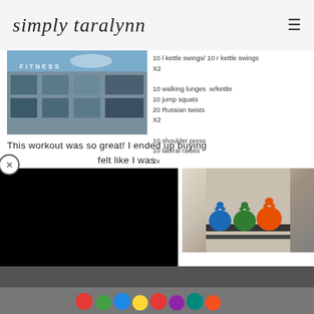simply taralynn
[Figure (photo): Exterior of a fitness center building with glass windows and a 'FITNESS' sign, photographed from below at an angle.]
10 l kettle swings/ 10 r kettle swings
X2
10 walking lunges w/kettle
10 jump squats
20 Russian twists
X2
10 shoulder press
10 lateral raises
2x
This workout was so great! I ended up buying felt like I was out my running
[Figure (photo): Black video player overlay covering left portion of screen.]
[Figure (photo): Colorful kettlebells (blue, green, orange) arranged on a rack in a gym.]
[Figure (photo): Bottom portion showing gym equipment and colored balls on the floor.]